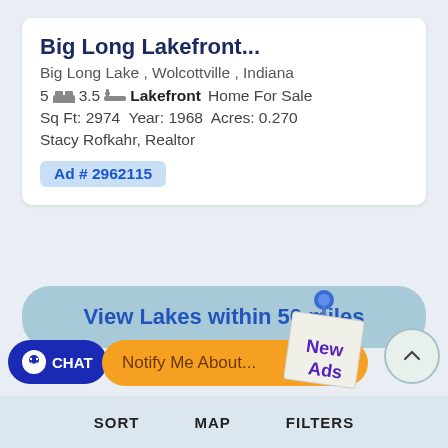Big Long Lakefront...
Big Long Lake , Wolcottville , Indiana
5 [bed] 3.5 [bath] Lakefront Home For Sale
Sq Ft: 2974  Year: 1968  Acres: 0.270
Stacy Rofkahr, Realtor
Ad # 2962115
View Lakes within 50 miles
CHAT
Notify Me About...
[Figure (illustration): Sticky note with pushpin showing 'New Ads' text in purple handwriting]
SORT   MAP   FILTERS